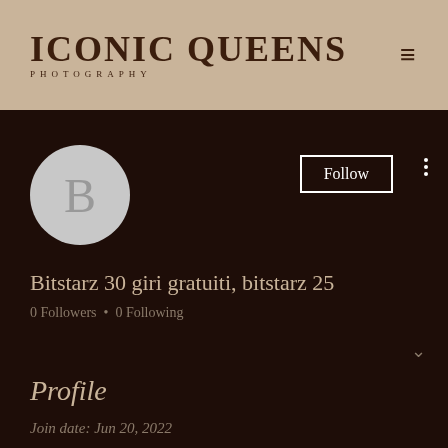[Figure (logo): Iconic Queens Photography logo with hamburger menu icon on tan/beige header bar]
[Figure (screenshot): User profile page on dark brown background with circular avatar showing letter B, Follow button, three-dot menu, username Bitstarz 30 giri gratuiti bitstarz 25, follower stats, chevron, Profile section header, and join date]
Bitstarz 30 giri gratuiti, bitstarz 25
0 Followers • 0 Following
Profile
Join date: Jun 20, 2022